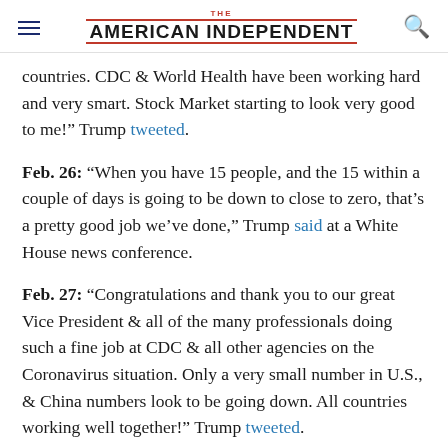THE AMERICAN INDEPENDENT
countries. CDC & World Health have been working hard and very smart. Stock Market starting to look very good to me!" Trump tweeted.
Feb. 26: "When you have 15 people, and the 15 within a couple of days is going to be down to close to zero, that’s a pretty good job we’ve done," Trump said at a White House news conference.
Feb. 27: "Congratulations and thank you to our great Vice President & all of the many professionals doing such a fine job at CDC & all other agencies on the Coronavirus situation. Only a very small number in U.S., & China numbers look to be going down. All countries working well together!" Trump tweeted.